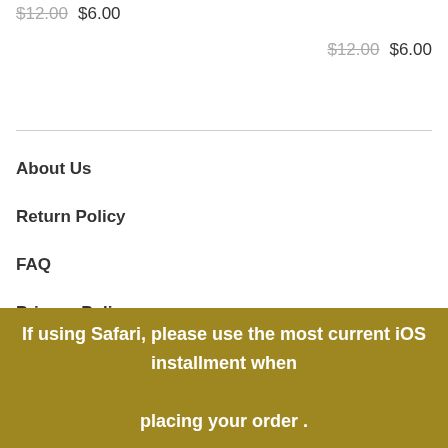$12.00  $6.00
$12.00  $6.00
About Us
Return Policy
FAQ
Privacy Policy
Payment methods
Sign up for our newsletter and get the latest updates, news
If using Safari, please use the most current iOS installment when placing your order .